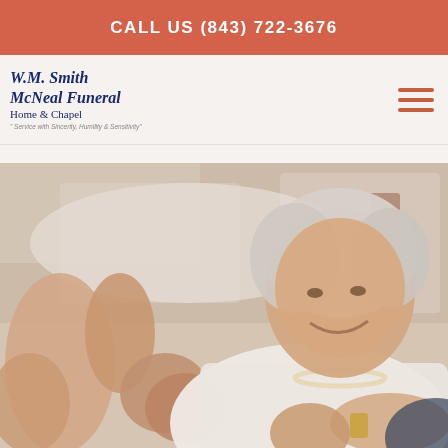CALL US (843) 722-3676
[Figure (logo): W.M. Smith McNeal Funeral Home & Chapel logo with tagline 'Service with Sincerity, Humility & Sensitivity']
[Figure (photo): Elderly woman with short white hair, smiling warmly, wearing a white blazer and pearl necklace, holding hands with two other people in a bright indoor setting]